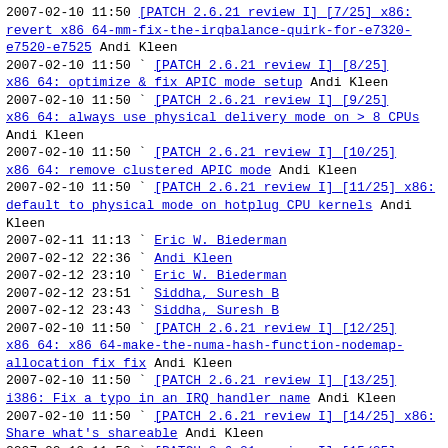2007-02-10 11:50   [PATCH 2.6.21 review I] [7/25] x86: revert x86 64-mm-fix-the-irqbalance-quirk-for-e7320-e7520-e7525 Andi Kleen
2007-02-10 11:50 ` [PATCH 2.6.21 review I] [8/25] x86 64: optimize & fix APIC mode setup Andi Kleen
2007-02-10 11:50 ` [PATCH 2.6.21 review I] [9/25] x86 64: always use physical delivery mode on > 8 CPUs Andi Kleen
2007-02-10 11:50 ` [PATCH 2.6.21 review I] [10/25] x86 64: remove clustered APIC mode Andi Kleen
2007-02-10 11:50 ` [PATCH 2.6.21 review I] [11/25] x86: default to physical mode on hotplug CPU kernels Andi Kleen
2007-02-11 11:13   ` Eric W. Biederman
2007-02-12 22:36     ` Andi Kleen
2007-02-12 23:10       ` Eric W. Biederman
2007-02-12 23:51         ` Siddha, Suresh B
2007-02-12 23:43       ` Siddha, Suresh B
2007-02-10 11:50 ` [PATCH 2.6.21 review I] [12/25] x86 64: x86 64-make-the-numa-hash-function-nodemap-allocation fix fix Andi Kleen
2007-02-10 11:50 ` [PATCH 2.6.21 review I] [13/25] i386: Fix a typo in an IRQ handler name Andi Kleen
2007-02-10 11:50 ` [PATCH 2.6.21 review I] [14/25] x86: Share what's shareable Andi Kleen
2007-02-10 11:50 ` [PATCH 2.6.21 review I] [15/25] i386: Only call unreachable_devices() when type 1 is available Andi Kleen
2007-02-10 11:50 ` [PATCH 2.6.21 review I] [16/25] i386: Detect and support the E7520 and the 945G/GZ/P/PL